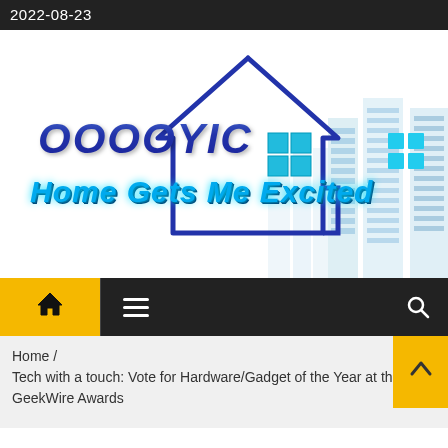2022-08-23
[Figure (logo): OOOOYIC Home Gets Me Excited logo with house outline and city skyline background]
[Figure (screenshot): Navigation bar with yellow home button, hamburger menu icon, and search icon]
Home / 
Tech with a touch: Vote for Hardware/Gadget of the Year at the GeekWire Awards